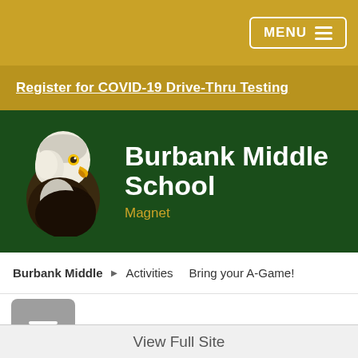MENU
Register for COVID-19 Drive-Thru Testing
Burbank Middle School
Magnet
Burbank Middle ▶ Activities   Bring your A-Game!
PAGES
View Full Site